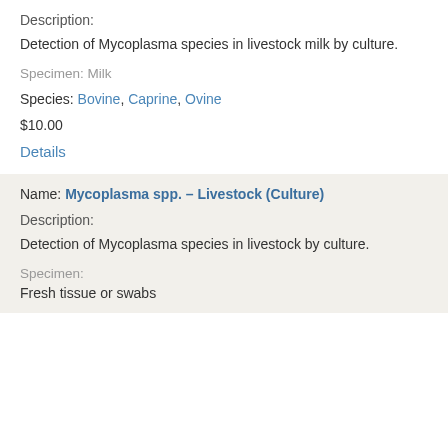Description:
Detection of Mycoplasma species in livestock milk by culture.
Specimen: Milk
Species: Bovine, Caprine, Ovine
$10.00
Details
Name: Mycoplasma spp. – Livestock (Culture)
Description:
Detection of Mycoplasma species in livestock by culture.
Specimen:
Fresh tissue or swabs